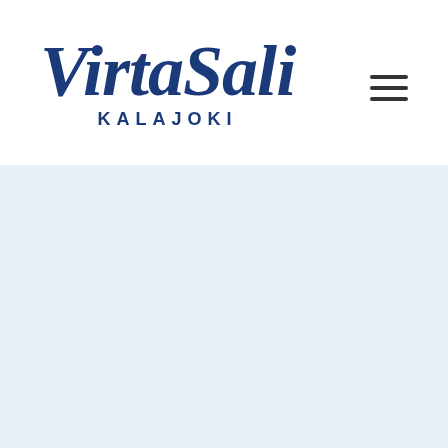[Figure (logo): VirtaSali Kalajoki logo — stylized italic script for 'VirtaSali' in dark navy blue, with 'KALAJOKI' in spaced uppercase sans-serif below]
[Figure (other): Hamburger menu icon — three horizontal dark lines]
[Figure (other): Light blue background section filling the lower portion of the page]